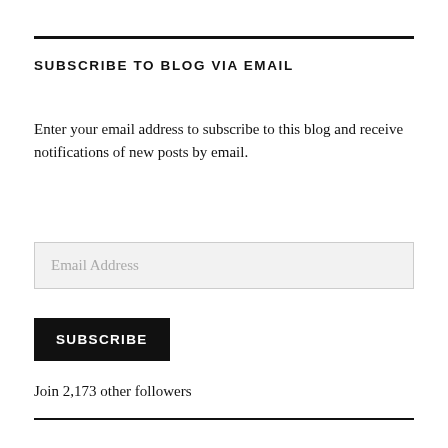SUBSCRIBE TO BLOG VIA EMAIL
Enter your email address to subscribe to this blog and receive notifications of new posts by email.
Email Address
SUBSCRIBE
Join 2,173 other followers